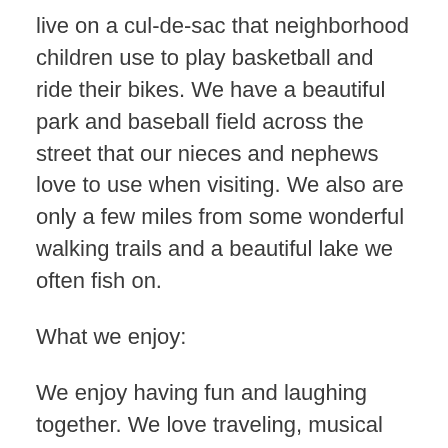live on a cul-de-sac that neighborhood children use to play basketball and ride their bikes. We have a beautiful park and baseball field across the street that our nieces and nephews love to use when visiting. We also are only a few miles from some wonderful walking trails and a beautiful lake we often fish on.
What we enjoy:
We enjoy having fun and laughing together. We love traveling, musical theater, Twins baseball, fishing, going